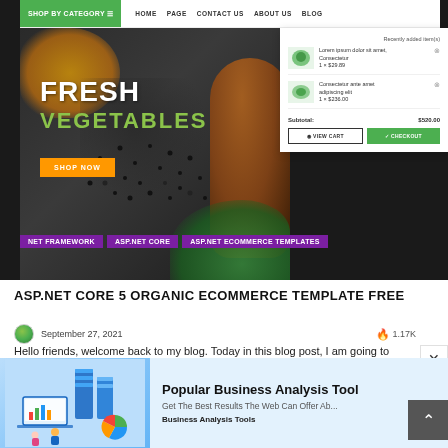[Figure (screenshot): Screenshot of an ASP.NET Core organic ecommerce website template showing a green navigation bar with 'SHOP BY CATEGORY', nav links (HOME, PAGE, CONTACT US, ABOUT US, BLOG), a hero banner with 'FRESH VEGETABLES' text on a dark background with spices and wooden spoon, a shopping cart dropdown showing two items with prices and subtotal of $520.00, VIEW CART and CHECKOUT buttons, and purple tag badges for NET FRAMEWORK, ASP.NET CORE, ASP.NET ECOMMERCE TEMPLATES]
ASP.NET CORE 5 ORGANIC ECOMMERCE TEMPLATE FREE
September 27, 2021    🔥 1.17K
Hello friends, welcome back to my blog. Today in this blog post, I am going to show you,...
[Figure (illustration): Isometric illustration of business analysis tools showing laptops, servers, bar charts, and people working with data on a blue background]
Popular Business Analysis Tool
Get The Best Results The Web Can Offer Ab...
Business Analysis Tools